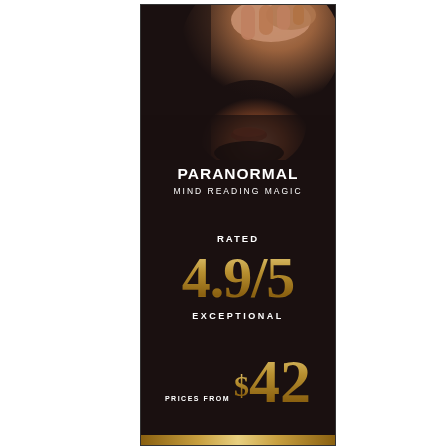[Figure (photo): Tall vertical banner advertisement with dark background. Top portion shows a man's face/hand in dim lighting. Contains promotional text for 'Paranormal Mind Reading Magic' show with a 4.9/5 exceptional rating and prices from $42.]
PARANORMAL
MIND READING MAGIC
RATED
4.9/5
EXCEPTIONAL
PRICES FROM $42